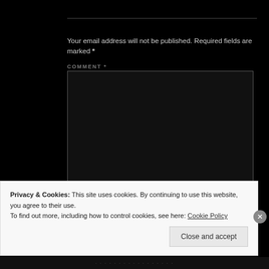Your email address will not be published. Required fields are marked *
COMMENT *
[Figure (screenshot): A dark comment textarea input box with a light border on a black background]
Privacy & Cookies: This site uses cookies. By continuing to use this website, you agree to their use.
To find out more, including how to control cookies, see here: Cookie Policy
Close and accept